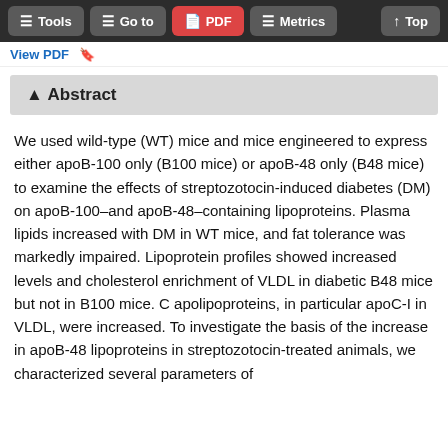Tools  Go to  PDF  Metrics  Top
View PDF
Abstract
We used wild-type (WT) mice and mice engineered to express either apoB-100 only (B100 mice) or apoB-48 only (B48 mice) to examine the effects of streptozotocin-induced diabetes (DM) on apoB-100–and apoB-48–containing lipoproteins. Plasma lipids increased with DM in WT mice, and fat tolerance was markedly impaired. Lipoprotein profiles showed increased levels and cholesterol enrichment of VLDL in diabetic B48 mice but not in B100 mice. C apolipoproteins, in particular apoC-I in VLDL, were increased. To investigate the basis of the increase in apoB-48 lipoproteins in streptozotocin-treated animals, we characterized several parameters of